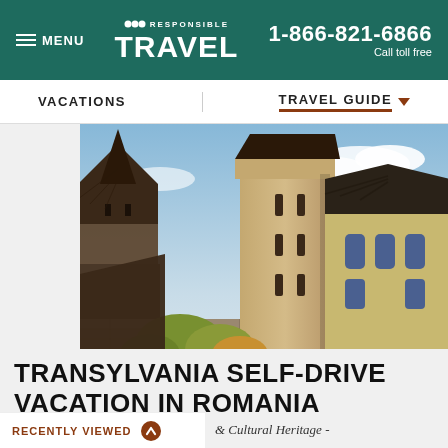MENU | Responsible TRAVEL | 1-866-821-6866 Call toll free
VACATIONS | TRAVEL GUIDE
[Figure (photo): Photo of a Romanian fortified church with a wooden bell tower on the left, a tall stone defensive tower in the center, and a Gothic church building on the right, surrounded by autumn trees and stone walls.]
TRANSYLVANIA SELF-DRIVE VACATION IN ROMANIA
& Cultural Heritage -
RECENTLY VIEWED